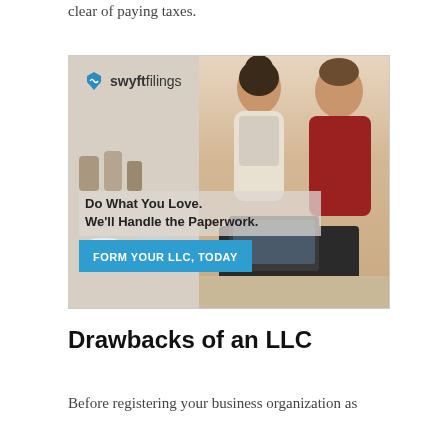clear of paying taxes.
[Figure (illustration): Swyft Filings advertisement showing two smiling business owners (a woman with a bun hairstyle and a man in a red shirt) standing behind a point-of-sale terminal in a cafe/shop setting. The ad contains the Swyft Filings logo, tagline 'Do What You Love. We'll Handle the Paperwork.' and a call-to-action button 'FORM YOUR LLC, TODAY']
Drawbacks of an LLC
Before registering your business organization as